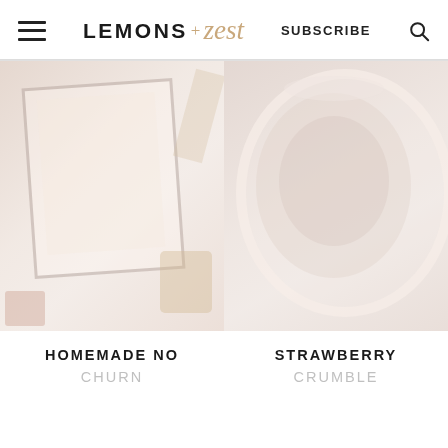LEMONS + zest | SUBSCRIBE
[Figure (photo): Photo of a homemade no-churn ice cream on a decorative tray with toppings]
[Figure (photo): Photo of a strawberry crumble in a white bowl]
HOMEMADE NO CHURN
STRAWBERRY CRUMBLE